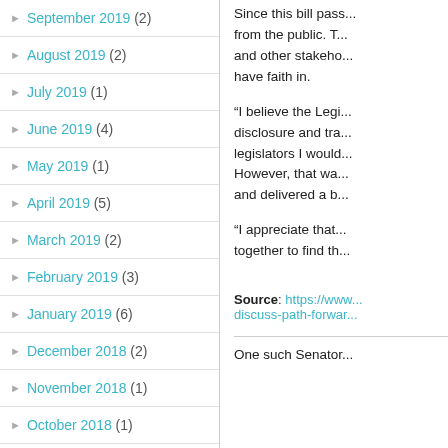September 2019 (2)
August 2019 (2)
July 2019 (1)
June 2019 (4)
May 2019 (1)
April 2019 (5)
March 2019 (2)
February 2019 (3)
January 2019 (6)
December 2018 (2)
November 2018 (1)
October 2018 (1)
September 2018 (2)
Since this bill pass... from the public. T... and other stakeho... have faith in.
“I believe the Legi... disclosure and tra... legislators I would... However, that wa... and delivered a b...
“I appreciate that... together to find th...
Source: https://www... discuss-path-forwar...
One such Senator...